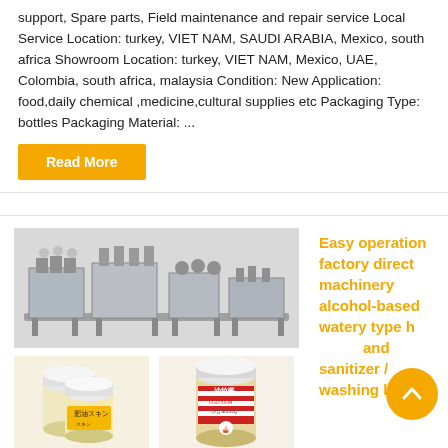support, Spare parts, Field maintenance and repair service Local Service Location: turkey, VIET NAM, SAUDI ARABIA, Mexico, south africa Showroom Location: turkey, VIET NAM, Mexico, UAE, Colombia, south africa, malaysia Condition: New Application: food,daily chemical ,medicine,cultural supplies etc Packaging Type: bottles Packaging Material: ...
Read More
[Figure (photo): Industrial bottling/filling machine production line, showing multiple stainless steel machines connected by conveyor belt]
[Figure (photo): Three white jars of Japanese skin cream product with yellow labels showing kanji characters]
[Figure (photo): A jar of salad dressing with red and white striped label reading 'salsa' with Chinese text]
Easy operation factory direct machinery alcohol-based watery type hand sanitizer / washing liquid